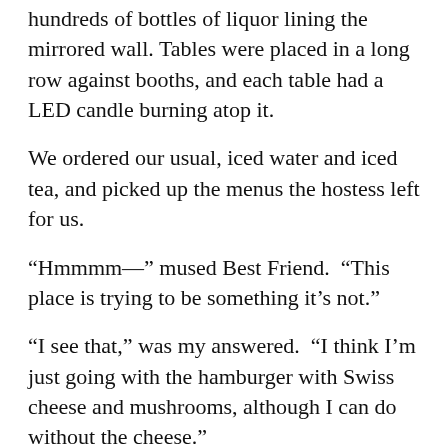hundreds of bottles of liquor lining the mirrored wall. Tables were placed in a long row against booths, and each table had a LED candle burning atop it.
We ordered our usual, iced water and iced tea, and picked up the menus the hostess left for us.
“Hmmmm—” mused Best Friend.  “This place is trying to be something it’s not.”
“I see that,” was my answered.  “I think I’m just going with the hamburger with Swiss cheese and mushrooms, although I can do without the cheese.”
The waitress came to take out orders, and we were eating within fifteen minutes.  Best Friend said that the bacon on the hamburger was good; I commented that arugula and spinach was strange on mine.  Then we paid the bill and were on our merry way.